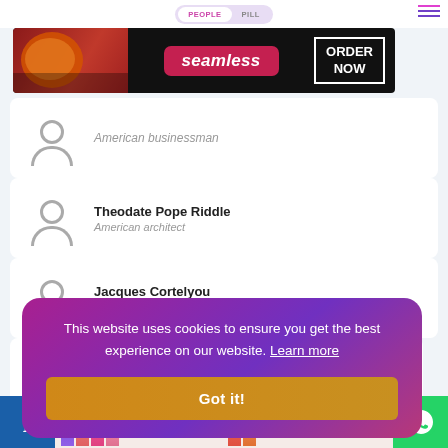[Figure (screenshot): People Pill website navigation bar with PEOPLE and PILL tabs and hamburger menu]
[Figure (screenshot): Seamless food delivery advertisement banner with pizza image and ORDER NOW button]
American businessman
Theodate Pope Riddle
American architect
Jacques Cortelyou
American cartographer
Peter Stuy...
Dutch politico...
Henry-Rus...
American art h...
Le Corbusi...
[Figure (screenshot): Cookie consent dialog: 'This website uses cookies to ensure you get the best experience on our website. Learn more' with 'Got it!' button]
[Figure (screenshot): MAC cosmetics advertisement with lipsticks and SHOP NOW button, Facebook icon, and WhatsApp icon]